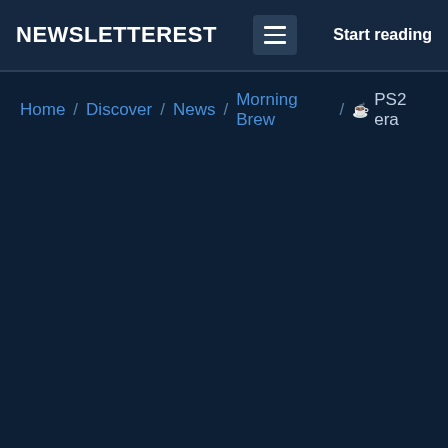NEWSLETTEREST  ≡  Start reading
Home / Discover / News / Morning Brew / ☕ PS2 era